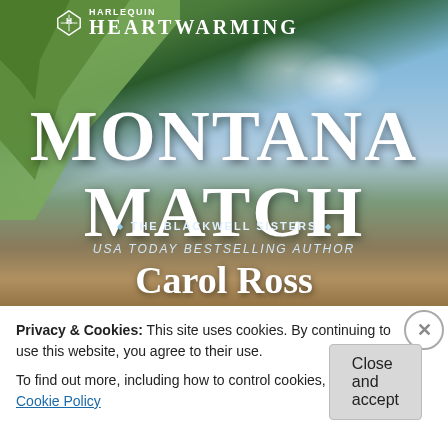[Figure (illustration): Harlequin Heartwarming book cover for 'Montana Match' by Carol Ross, showing snow-capped mountains landscape with green geometric shapes on left, white title text, series badge 'The Blackwell Sisters', and USA Today Bestselling Author byline.]
Privacy & Cookies: This site uses cookies. By continuing to use this website, you agree to their use.
To find out more, including how to control cookies, see here: Cookie Policy
Close and accept